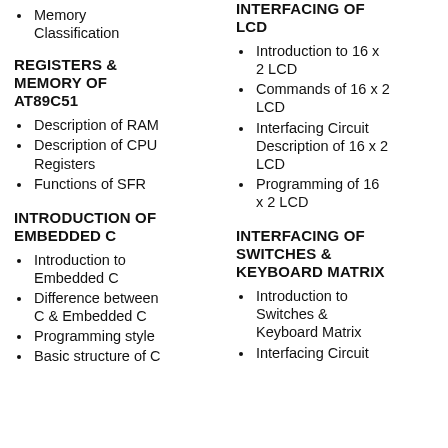Memory Classification
REGISTERS & MEMORY OF AT89C51
Description of RAM
Description of CPU Registers
Functions of SFR
INTRODUCTION OF EMBEDDED C
Introduction to Embedded C
Difference between C & Embedded C
Programming style
Basic structure of C
INTERFACING OF LCD
Introduction to 16 x 2 LCD
Commands of 16 x 2 LCD
Interfacing Circuit Description of 16 x 2 LCD
Programming of 16 x 2 LCD
INTERFACING OF SWITCHES & KEYBOARD MATRIX
Introduction to Switches & Keyboard Matrix
Interfacing Circuit